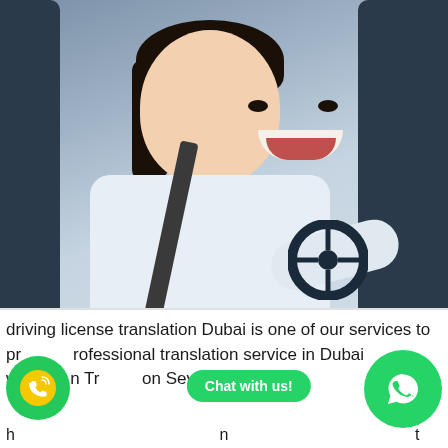[Figure (photo): A smiling young woman sitting in the driver's seat of a car, wearing a white shirt with a blue collar, seat belt on, looking back at the camera with a smile.]
driving license translation Dubai is one of our services to provide professional translation service in Dubai with Translation Sevices.
Chat with us!